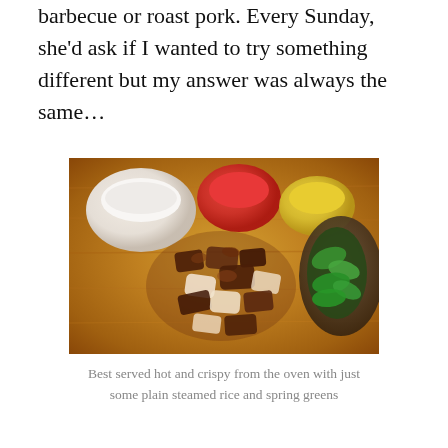barbecue or roast pork. Every Sunday, she'd ask if I wanted to try something different but my answer was always the same…
[Figure (photo): A wooden cutting board with chopped roast pork pieces in the center, surrounded by small bowls of steamed rice, tomatoes/red sauce, yellow corn, and a plate of green spring greens/vegetables]
Best served hot and crispy from the oven with just some plain steamed rice and spring greens
I've lived in the UK now for almost 15 years and I've gotten better – I will try different things for lunch 🙂 – but I still can't get into habit of having sandwiches, especially